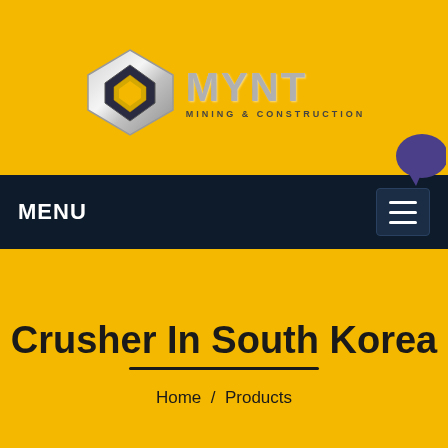[Figure (logo): MYNT Mining & Construction logo — metallic 3D diamond/rhombus shape with silver metallic MYNT text and subtitle MINING & CONSTRUCTION]
MENU
[Figure (other): LIVE CHAT button — teal circular speech bubble with LIVE CHAT text, purple speech bubble icon behind it]
Crusher In South Korea
Home  /  Products